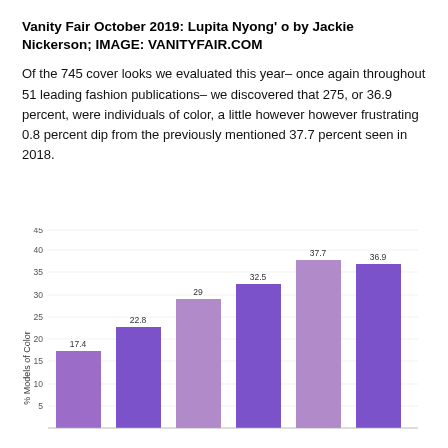Vanity Fair October 2019: Lupita Nyong'o by Jackie Nickerson; IMAGE: VANITYFAIR.COM
Of the 745 cover looks we evaluated this year– once again throughout 51 leading fashion publications– we discovered that 275, or 36.9 percent, were individuals of color, a little however however frustrating 0.8 percent dip from the previously mentioned 37.7 percent seen in 2018.
[Figure (bar-chart): % Models of Color]